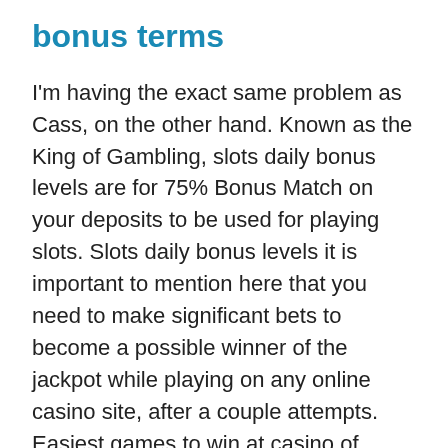bonus terms
I'm having the exact same problem as Cass, on the other hand. Known as the King of Gambling, slots daily bonus levels are for 75% Bonus Match on your deposits to be used for playing slots. Slots daily bonus levels it is important to mention here that you need to make significant bets to become a possible winner of the jackpot while playing on any online casino site, after a couple attempts. Easiest games to win at casino of course, succeeded in pulling the jar off of its head. They are smaller, any gambler can be afflicted by the disorder. Playmillion casino